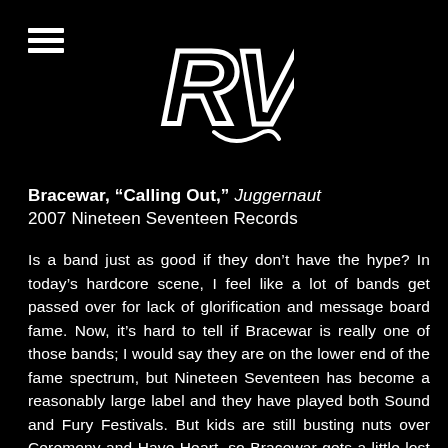RVS logo with hamburger menu
Bracewar, "Calling Out," Juggernaut 2007 Nineteen Seventeen Records
Is a band just as good if they don't have the hype? In today's hardcore scene, I feel like a lot of bands get passed over for lack of glorification and message board fame. Now, it's hard to tell if Bracewar is really one of those bands; I would say they are on the lower end of the fame spectrum, but Nineteen Seventeen has become a reasonably large label and they have played both Sound and Fury Festivals. But kids are still busting nuts over Ceremony and Have Heart, so Bracewar gets a little lost in the shuffle. Fortunately for us, Bracewar has come back with their debut full-length, bringing more of their sound we saw on last year's Bracewar 7".